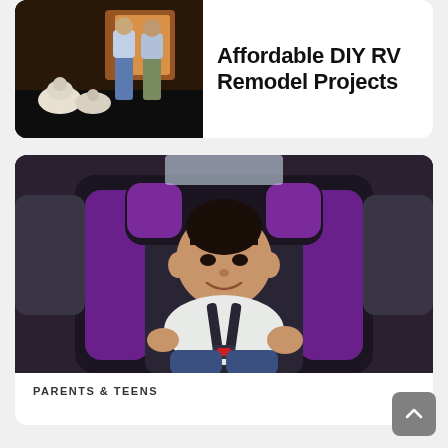[Figure (photo): Photo of two children and a fluffy white dog standing in an RV interior with warm lighting and curtains]
Affordable DIY RV Remodel Projects
[Figure (photo): Photo of a smiling baby/toddler sitting in a black and purple car seat with harness, inside a vehicle]
PARENTS & TEENS